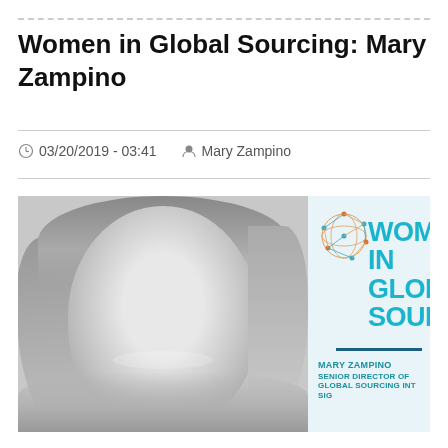Women in Global Sourcing: Mary Zampino
03/20/2019 - 03:41   Mary Zampino
[Figure (photo): Side-by-side: black and white headshot photo of Mary Zampino on the left, and a promotional graphic on the right with teal text reading WOMEN IN GLOBAL SOURCING with a network/globe logo and Mary Zampino's name and title: SENIOR DIRECTOR OF GLOBAL SOURCING INT SIG]